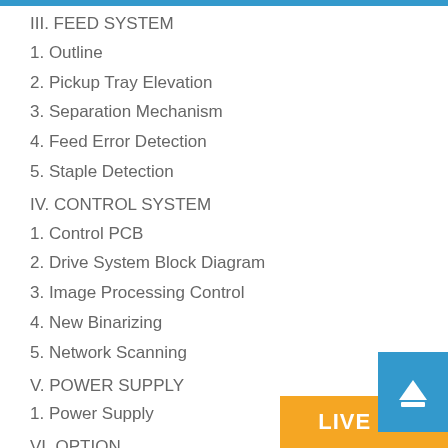III. FEED SYSTEM
1. Outline
2. Pickup Tray Elevation
3. Separation Mechanism
4. Feed Error Detection
5. Staple Detection
IV. CONTROL SYSTEM
1. Control PCB
2. Drive System Block Diagram
3. Image Processing Control
4. New Binarizing
5. Network Scanning
V. POWER SUPPLY
1. Power Supply
VI. OPTION
1. Imprinter
2. Flatbed Scanner Unit
VII. ELECTRICAL PARTS LAYO...